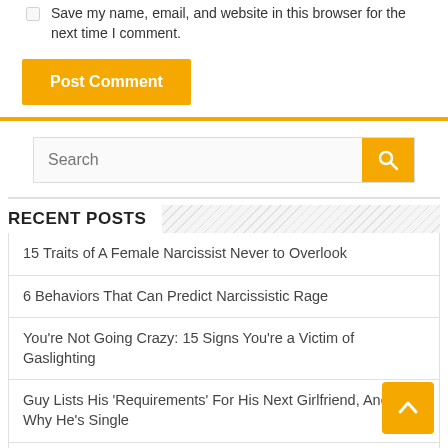Save my name, email, and website in this browser for the next time I comment.
Post Comment
Search
RECENT POSTS
15 Traits of A Female Narcissist Never to Overlook
6 Behaviors That Can Predict Narcissistic Rage
You're Not Going Crazy: 15 Signs You're a Victim of Gaslighting
Guy Lists His ‘Requirements’ For His Next Girlfriend, And I Get Why He’s Single
5 Reasons Narcissists Can’t Have Intimate Relationships
CATEGORIES